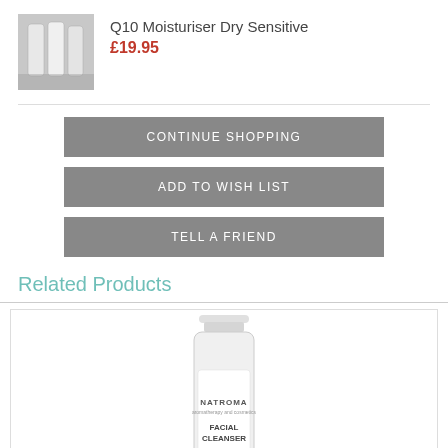[Figure (photo): Product photo of Q10 Moisturiser Dry Sensitive skincare bottles on shelf]
Q10 Moisturiser Dry Sensitive
£19.95
CONTINUE SHOPPING
ADD TO WISH LIST
TELL A FRIEND
Related Products
[Figure (photo): Natroma Facial Cleanser Rose product bottle]